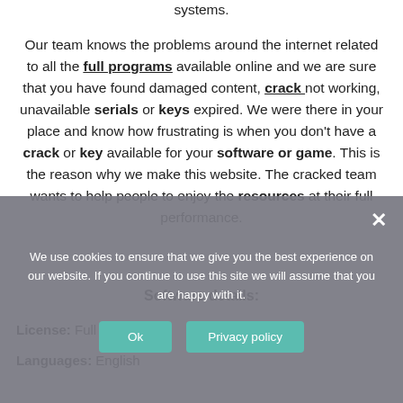systems.
Our team knows the problems around the internet related to all the full programs available online and we are sure that you have found damaged content, crack not working, unavailable serials or keys expired. We were there in your place and know how frustrating is when you don’t have a crack or key available for your software or game. This is the reason why we make this website. The cracked team wants to help people to enjoy the resources at their full performance.
Software details:
License: Full version
Languages: English
We use cookies to ensure that we give you the best experience on our website. If you continue to use this site we will assume that you are happy with it.